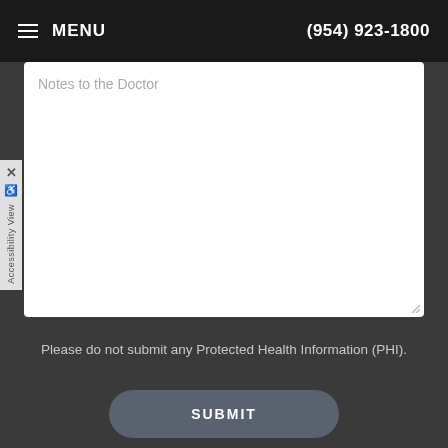≡ MENU    (954) 923-1800
Notes to the Doctor
Accessibility View
Please do not submit any Protected Health Information (PHI).
SUBMIT